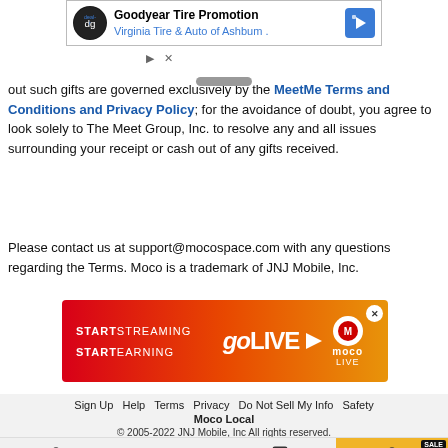[Figure (screenshot): Goodyear Tire Promotion ad banner from Virginia Tire & Auto of Ashburn]
out such gifts are governed exclusively by the MeetMe Terms and Conditions and Privacy Policy; for the avoidance of doubt, you agree to look solely to The Meet Group, Inc. to resolve any and all issues surrounding your receipt or cash out of any gifts received.
Please contact us at support@mocospace.com with any questions regarding the Terms. Moco is a trademark of JNJ Mobile, Inc.
[Figure (screenshot): GoLive ad banner: START STREAMING START EARNING goLIVE moco LIVE]
Sign Up  Help  Terms  Privacy  Do Not Sell My Info  Safety
Moco Local
© 2005-2022 JNJ Mobile, Inc All rights reserved.
[Figure (screenshot): Bottom navigation bar with Meet, Rooms, Chat, Me tabs. Me tab is highlighted with SALE badge.]